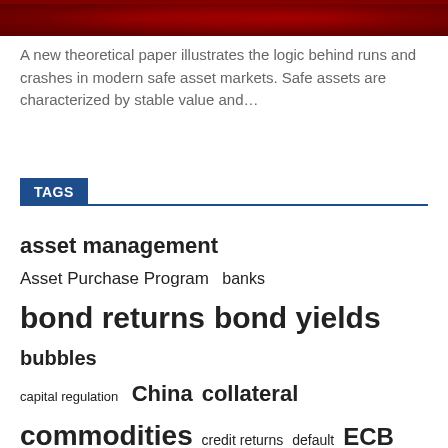[Figure (photo): Red abstract financial background image strip at top of page]
A new theoretical paper illustrates the logic behind runs and crashes in modern safe asset markets. Safe assets are characterized by stable value and...
TAGS
asset management
Asset Purchase Program
banks
bond returns
bond yields
bubbles
capital regulation
China
collateral
commodities
credit returns
default
ECB
economic data
EM
equity returns
euro area crisis
Fed
financial crisis
FX
FX interventions